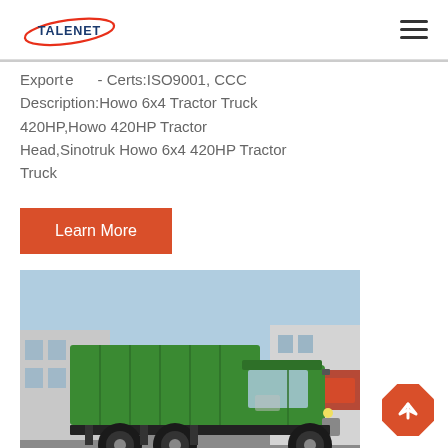TALENET (logo) | hamburger menu
Exported to - Certs:ISO9001, CCC
Description:Howo 6x4 Tractor Truck 420HP,Howo 420HP Tractor Head,Sinotruk Howo 6x4 420HP Tractor Truck
[Figure (other): Orange 'Learn More' button]
[Figure (photo): Green Sinotruk Howo dump truck parked in a yard with Chinese signage in the background]